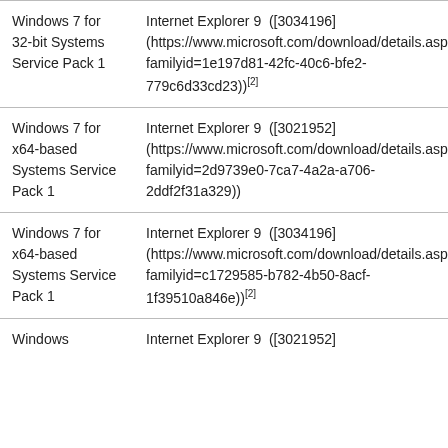| Windows 7 for 32-bit Systems Service Pack 1 | Internet Explorer 9  ([3034196] (https://www.microsoft.com/download/details.aspx?familyid=1e197d81-42fc-40c6-bfe2-779c6d33cd23))[2] |
| Windows 7 for x64-based Systems Service Pack 1 | Internet Explorer 9  ([3021952] (https://www.microsoft.com/download/details.aspx?familyid=2d9739e0-7ca7-4a2a-a706-2ddf2f31a329)) |
| Windows 7 for x64-based Systems Service Pack 1 | Internet Explorer 9  ([3034196] (https://www.microsoft.com/download/details.aspx?familyid=c1729585-b782-4b50-8acf-1f39510a846e))[2] |
| Windows | Internet Explorer 9  ([3021952] |